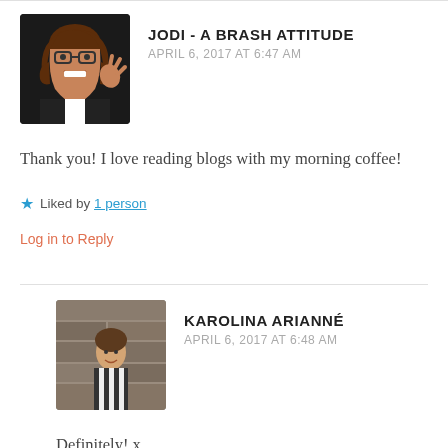JODI - A BRASH ATTITUDE
APRIL 6, 2017 AT 6:47 AM
Thank you! I love reading blogs with my morning coffee!
Liked by 1 person
Log in to Reply
KAROLINA ARIANNÉ
APRIL 6, 2017 AT 6:48 AM
Definitely! x